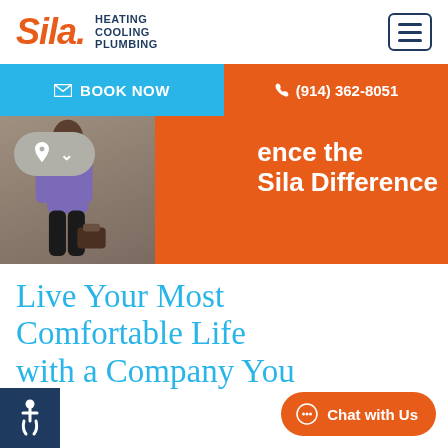[Figure (logo): Sila Heating Cooling Plumbing logo with orange italic text and navy subtitle]
[Figure (screenshot): Hamburger menu icon button in navy border]
✉ BOOK NOW
📞 (914) 362-8051
[Figure (screenshot): Hero banner with orange background, technician photo, location pill with pin icon and dropdown arrow, and text reading 'ence the Sila Difference']
Live Your Most Comfortable Life with a Company You
[Figure (illustration): Chat with Us orange pill button at bottom right]
[Figure (illustration): Accessibility icon (wheelchair) in dark blue square at bottom left]